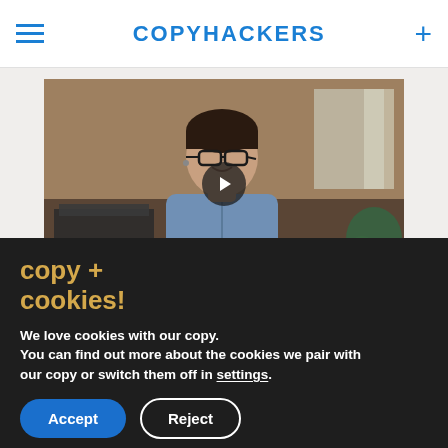COPYHACKERS
[Figure (photo): Video thumbnail showing a woman with short dark hair and glasses, wearing a denim shirt, smiling and gesturing with her hands in an office setting. A play button icon is centered on the image.]
copy + cookies!
We love cookies with our copy. You can find out more about the cookies we pair with our copy or switch them off in settings.
Accept   Reject